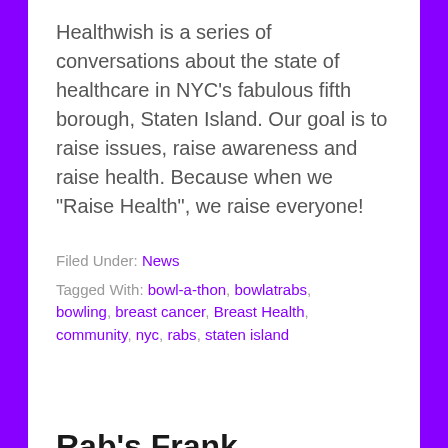Healthwish is a series of conversations about the state of healthcare in NYC's fabulous fifth borough, Staten Island. Our goal is to raise issues, raise awareness and raise health. Because when we "Raise Health", we raise everyone!
Filed Under: News
Tagged With: bowl-a-thon, bowlatrabs, bowling, breast cancer, Breast Health, community, nyc, rabs, staten island
Rab's Frank